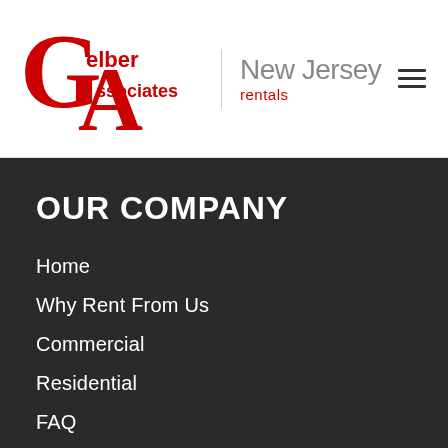[Figure (logo): Gelber Associates logo with stylized G and A in red, beside a vertical divider, 'New Jersey' in gray and 'rentals' in red]
OUR COMPANY
Home
Why Rent From Us
Commercial
Residential
FAQ
Apply